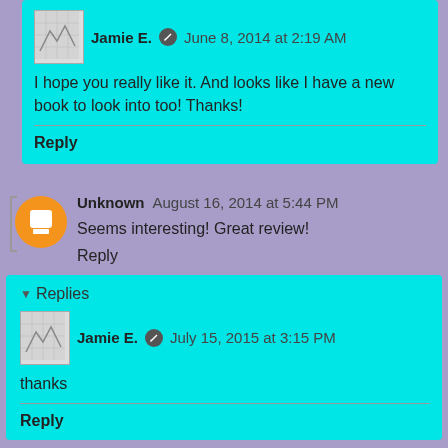Jamie E. • June 8, 2014 at 2:19 AM
I hope you really like it. And looks like I have a new book to look into too! Thanks!
Reply
Unknown  August 16, 2014 at 5:44 PM
Seems interesting! Great review!
Reply
Replies
Jamie E. • July 15, 2015 at 3:15 PM
thanks
Reply